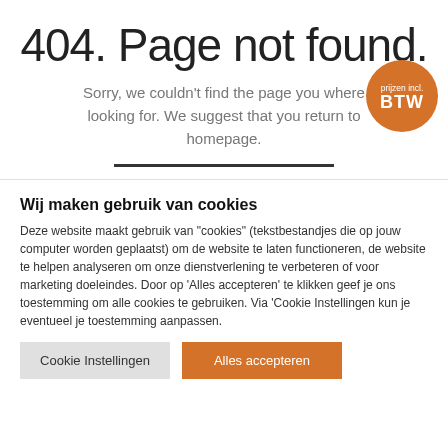404. Page not found.
Sorry, we couldn't find the page you where looking for. We suggest that you return to homepage.
[Figure (other): Orange circular badge with text 'prijzen incl. BTW']
Wij maken gebruik van cookies
Deze website maakt gebruik van "cookies" (tekstbestandjes die op jouw computer worden geplaatst) om de website te laten functioneren, de website te helpen analyseren om onze dienstverlening te verbeteren of voor marketing doeleindes. Door op 'Alles accepteren' te klikken geef je ons toestemming om alle cookies te gebruiken. Via 'Cookie Instellingen kun je eventueel je toestemming aanpassen.
Cookie Instellingen | Alles accepteren